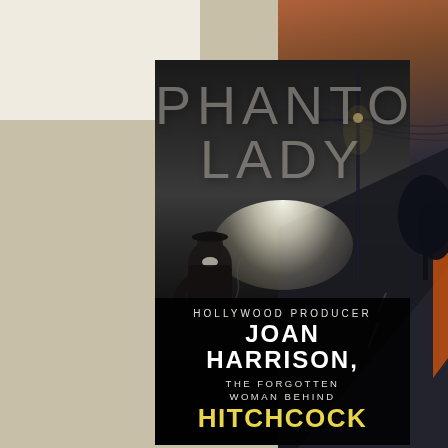[Figure (photo): Book cover collage. Left: cream background. Right: dusk road photo with power lines and orange stripe. Center: Book cover for 'Phantom Lady: Hollywood Producer Joan Harrison, the Forgotten Woman Behind Hitchcock' — dark noir aesthetic with film noir imagery, a woman seated in shadow, and a light beam. Title 'PHANTOM LADY' rendered in large faded letters. Bottom text panel with book subtitle in white and yellow lettering.]